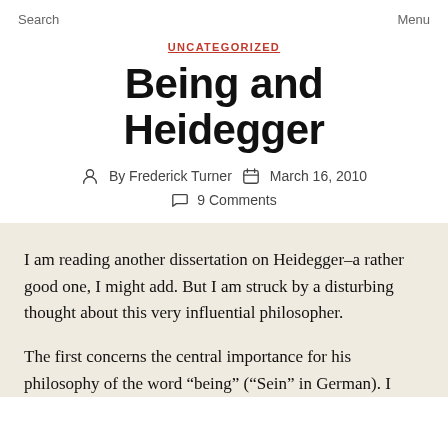Search    Menu
UNCATEGORIZED
Being and Heidegger
By Frederick Turner   March 16, 2010
9 Comments
I am reading another dissertation on Heidegger–a rather good one, I might add. But I am struck by a disturbing thought about this very influential philosopher.
The first concerns the central importance for his philosophy of the word “being” (“Sein” in German). I